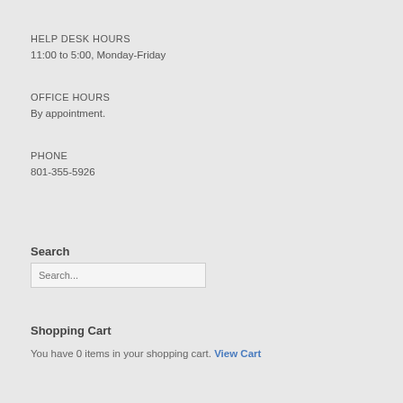HELP DESK HOURS
11:00 to 5:00, Monday-Friday
OFFICE HOURS
By appointment.
PHONE
801-355-5926
Search
Search...
Shopping Cart
You have 0 items in your shopping cart. View Cart